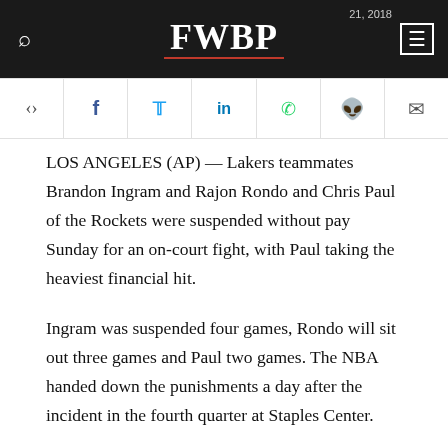FWBP — Oct 21, 2018
[Figure (other): Social sharing icon bar with share, Facebook, Twitter, LinkedIn, WhatsApp, Reddit, and email icons]
LOS ANGELES (AP) — Lakers teammates Brandon Ingram and Rajon Rondo and Chris Paul of the Rockets were suspended without pay Sunday for an on-court fight, with Paul taking the heaviest financial hit.
Ingram was suspended four games, Rondo will sit out three games and Paul two games. The NBA handed down the punishments a day after the incident in the fourth quarter at Staples Center.
The penalty was costliest to Paul, who was fined a total of $491,782. Roding president of the NBA...